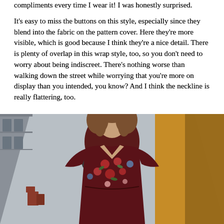compliments every time I wear it! I was honestly surprised.
It's easy to miss the buttons on this style, especially since they blend into the fabric on the pattern cover. Here they're more visible, which is good because I think they're a nice detail. There is plenty of overlap in this wrap style, too, so you don't need to worry about being indiscreet. There's nothing worse than walking down the street while worrying that you're more on display than you intended, you know? And I think the neckline is really flattering, too.
[Figure (photo): A woman wearing a dark burgundy floral wrap dress with short flutter sleeves, standing on a European street. The dress features a V-neckline and colorful flower print. She has curly brown hair. The background shows a narrow city street with buildings and a yellow/orange wall to the right.]